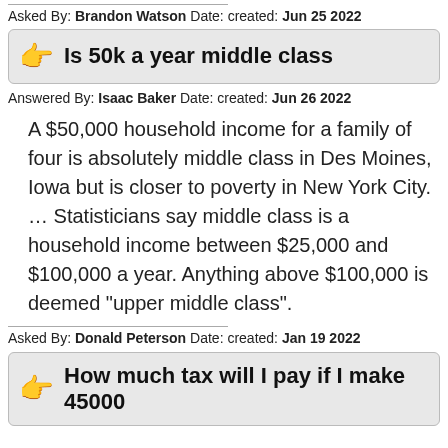Asked By: Brandon Watson Date: created: Jun 25 2022
Is 50k a year middle class
Answered By: Isaac Baker Date: created: Jun 26 2022
A $50,000 household income for a family of four is absolutely middle class in Des Moines, Iowa but is closer to poverty in New York City. … Statisticians say middle class is a household income between $25,000 and $100,000 a year. Anything above $100,000 is deemed “upper middle class”.
Asked By: Donald Peterson Date: created: Jan 19 2022
How much tax will I pay if I make 45000